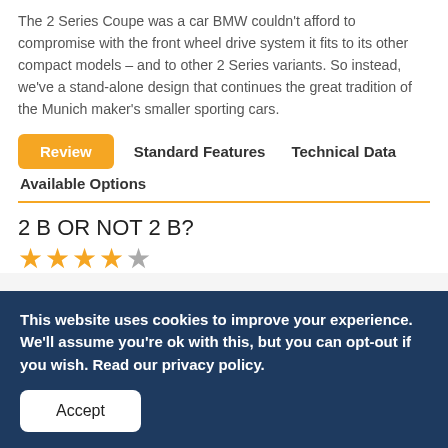The 2 Series Coupe was a car BMW couldn't afford to compromise with the front wheel drive system it fits to its other compact models – and to other 2 Series variants. So instead, we've a stand-alone design that continues the great tradition of the Munich maker's smaller sporting cars.
Review
Standard Features
Technical Data
Available Options
2 B OR NOT 2 B?
★★★★☆ (4 out of 5 stars)
This website uses cookies to improve your experience. We'll assume you're ok with this, but you can opt-out if you wish. Read our privacy policy.
Accept